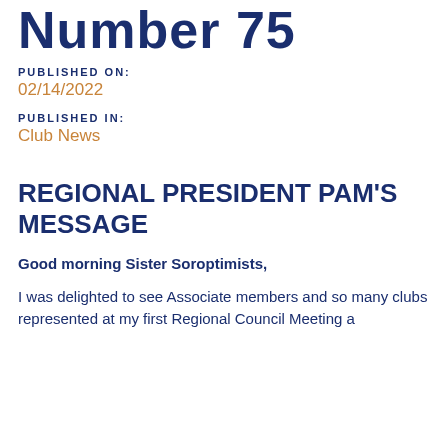Number 75
PUBLISHED ON:
02/14/2022
PUBLISHED IN:
Club News
REGIONAL PRESIDENT PAM'S MESSAGE
Good morning Sister Soroptimists,
I was delighted to see Associate members and so many clubs represented at my first Regional Council Meeting a